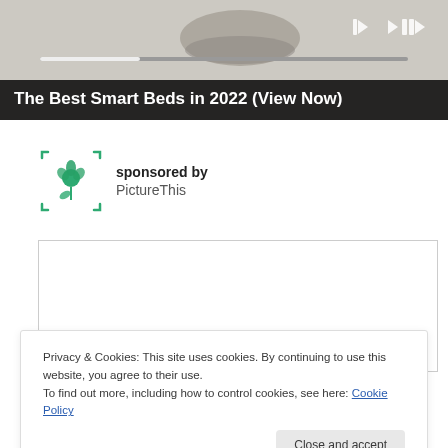[Figure (screenshot): Ad banner showing a product image (smart bed) with media playback controls and a dark overlay with text 'The Best Smart Beds in 2022 (View Now)']
sponsored by PictureThis
[Figure (logo): PictureThis app logo — green flower/plant icon with rounded corner bracket frame]
Privacy & Cookies: This site uses cookies. By continuing to use this website, you agree to their use.
To find out more, including how to control cookies, see here: Cookie Policy